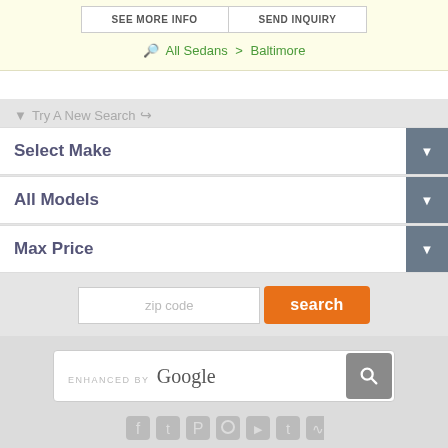SEE MORE INFO | SEND INQUIRY
🔍 All Sedans > Baltimore
▼ Try A New Search ↗
Select Make
All Models
Max Price
zip code  search
ENHANCED BY Google
Android App · Sitemap · About · FAQ · Privacy · Contact
Copyright © 2007-2022. Autopten.com. All Rights Reserved.